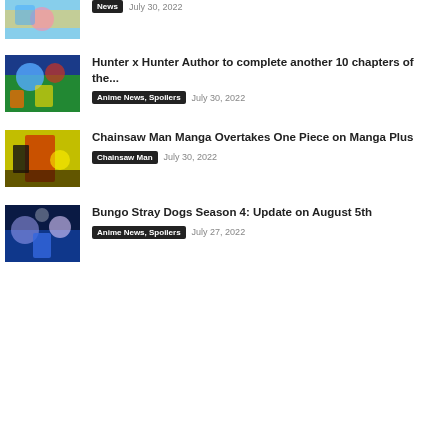[Figure (photo): Partial anime article thumbnail at top of page]
News  July 30, 2022
[Figure (photo): Hunter x Hunter anime characters group illustration]
Hunter x Hunter Author to complete another 10 chapters of the...
Anime News, Spoilers  July 30, 2022
[Figure (photo): Chainsaw Man manga cover art]
Chainsaw Man Manga Overtakes One Piece on Manga Plus
Chainsaw Man  July 30, 2022
[Figure (photo): Bungo Stray Dogs anime characters]
Bungo Stray Dogs Season 4: Update on August 5th
Anime News, Spoilers  July 27, 2022